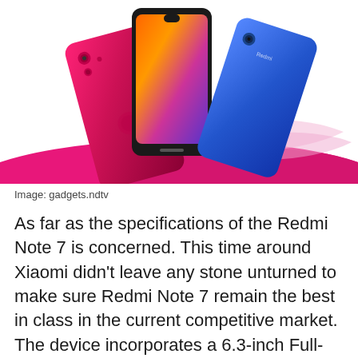[Figure (photo): Three Xiaomi Redmi Note 7 smartphones shown from different angles — red/gradient back, black front showing colorful wallpaper, and blue back — arranged against a pink/magenta swoosh background.]
Image: gadgets.ndtv
As far as the specifications of the Redmi Note 7 is concerned. This time around Xiaomi didn't leave any stone unturned to make sure Redmi Note 7 remain the best in class in the current competitive market. The device incorporates a 6.3-inch Full-HD+ LTPS display with a resolution of 1080×2340 pixels and an aspect ratio of 19.5:9. And this time Xiaomi took